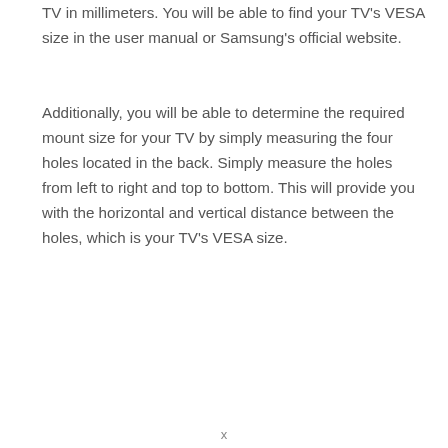TV in millimeters. You will be able to find your TV's VESA size in the user manual or Samsung's official website.
Additionally, you will be able to determine the required mount size for your TV by simply measuring the four holes located in the back. Simply measure the holes from left to right and top to bottom. This will provide you with the horizontal and vertical distance between the holes, which is your TV's VESA size.
x